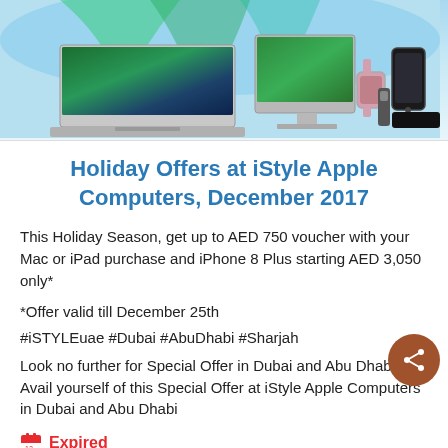[Figure (photo): Apple product lineup showing MacBook, iMac, Apple Watch, iPhone, and Apple TV remote against a background with northern lights / green landscape imagery.]
Holiday Offers at iStyle Apple Computers, December 2017
This Holiday Season, get up to AED 750 voucher with your Mac or iPad purchase and iPhone 8 Plus starting AED 3,050 only*
*Offer valid till December 25th
#iSTYLEuae #Dubai #AbuDhabi #Sharjah
Look no further for Special Offer in Dubai and Abu Dhabi. Avail yourself of this Special Offer at iStyle Apple Computers in Dubai and Abu Dhabi
Expired